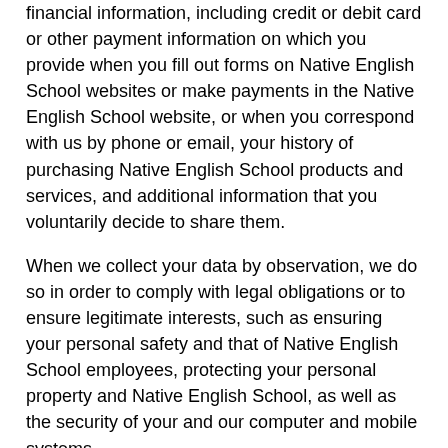financial information, including credit or debit card or other payment information on which you provide when you fill out forms on Native English School websites or make payments in the Native English School website, or when you correspond with us by phone or email, your history of purchasing Native English School products and services, and additional information that you voluntarily decide to share them.
When we collect your data by observation, we do so in order to comply with legal obligations or to ensure legitimate interests, such as ensuring your personal safety and that of Native English School employees, protecting your personal property and Native English School, as well as the security of your and our computer and mobile systems.
What privacy rights do you have?
Please note that you have the right, at any time, to request the following from Native English School: